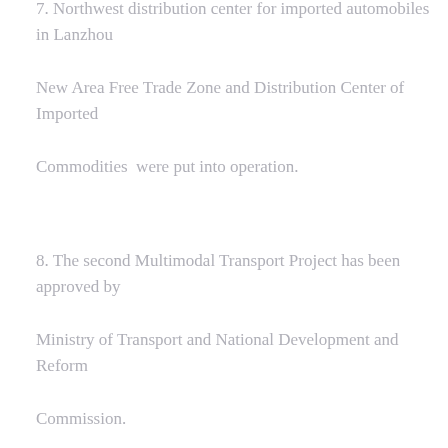7. Northwest distribution center for imported automobiles in Lanzhou New Area Free Trade Zone and Distribution Center of Imported Commodities  were put into operation.
8. The second Multimodal Transport Project has been approved by Ministry of Transport and National Development and Reform Commission.
9. The first Designated Inspection Site for imported meat in Lanzhou New Area Free Trade Zone has been approved to operate by AQSIQ.
10. The operational ceremony of new taxis was held.
11. The first business order for imported beef in Gansu province arrived in Lanzhou New Area Free Trade Zone.